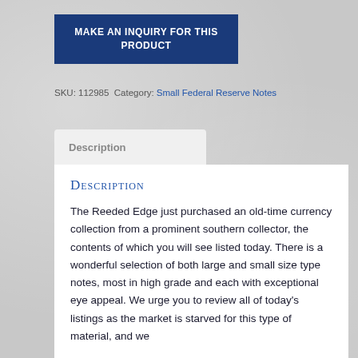MAKE AN INQUIRY FOR THIS PRODUCT
SKU: 112985 Category: Small Federal Reserve Notes
Description
Description
The Reeded Edge just purchased an old-time currency collection from a prominent southern collector, the contents of which you will see listed today. There is a wonderful selection of both large and small size type notes, most in high grade and each with exceptional eye appeal. We urge you to review all of today’s listings as the market is starved for this type of material, and we